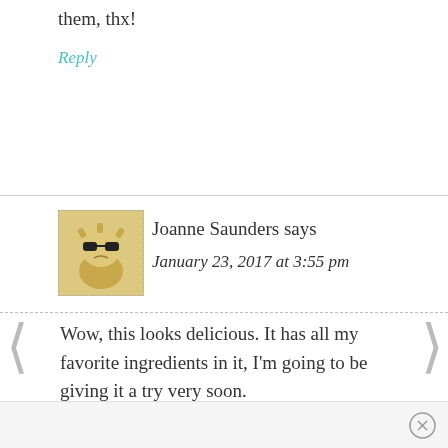them, thx!
Reply
Joanne Saunders says
January 23, 2017 at 3:55 pm
Wow, this looks delicious. It has all my favorite ingredients in it, I'm going to be giving it a try very soon.
Reply